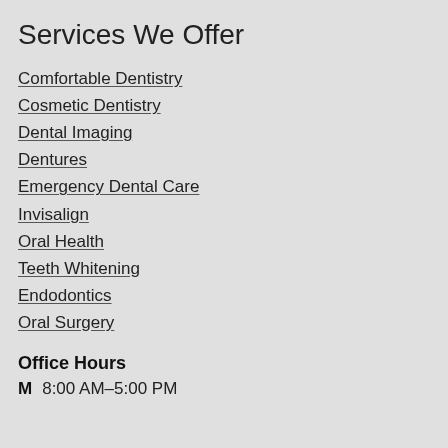Services We Offer
Comfortable Dentistry
Cosmetic Dentistry
Dental Imaging
Dentures
Emergency Dental Care
Invisalign
Oral Health
Teeth Whitening
Endodontics
Oral Surgery
Office Hours
M  8:00 AM–5:00 PM